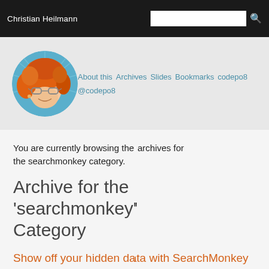Christian Heilmann
[Figure (illustration): Cartoon avatar of Christian Heilmann — a character with orange/red curly hair and glasses on a blue circular background]
About this Archives Slides Bookmarks codepo8 @codepo8
You are currently browsing the archives for the searchmonkey category.
Archive for the ‘searchmonkey’ Category
Show off your hidden data with SearchMonkey – new article on Digital-